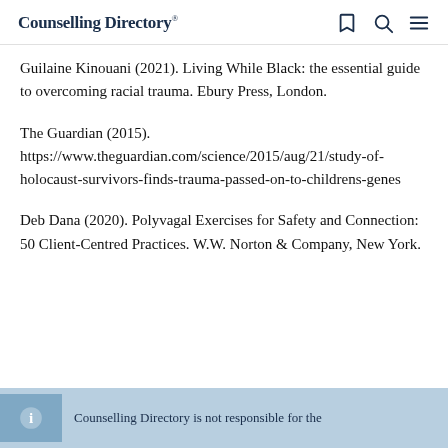Counselling Directory
Guilaine Kinouani (2021). Living While Black: the essential guide to overcoming racial trauma. Ebury Press, London.
The Guardian (2015). https://www.theguardian.com/science/2015/aug/21/study-of-holocaust-survivors-finds-trauma-passed-on-to-childrens-genes
Deb Dana (2020). Polyvagal Exercises for Safety and Connection: 50 Client-Centred Practices. W.W. Norton & Company, New York.
Counselling Directory is not responsible for the